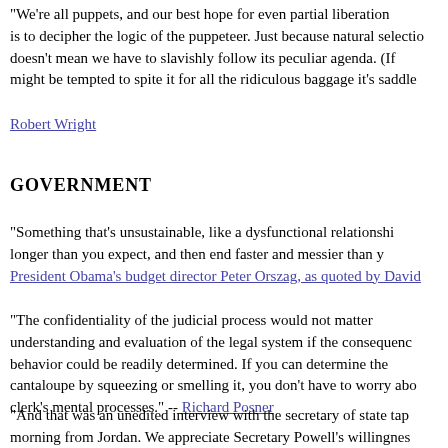"We're all puppets, and our best hope for even partial liberation is to decipher the logic of the puppeteer. Just because natural selection built us doesn't mean we have to slavishly follow its peculiar agenda. (If anything, I might be tempted to spite it for all the ridiculous baggage it's saddled us with.)"
Robert Wright
GOVERNMENT
“Something that’s unsustainable, like a dysfunctional relationship, will last longer than you expect, and then end faster and messier than you expect.”
President Obama's budget director Peter Orszag, as quoted by David
"The confidentiality of the judicial process would not matter much to our understanding and evaluation of the legal system if the consequences of judicial behavior could be readily determined. If you can determine the ripeness of a cantaloupe by squeezing or smelling it, you don't have to worry about the fruit clerk's mental processes." -- Richard Posner
"And that was an unedited interview with the secretary of state taped this morning from Jordan. We appreciate Secretary Powell's willingness, despite his press aide's attempt to abruptly cut off our discussion as I beg